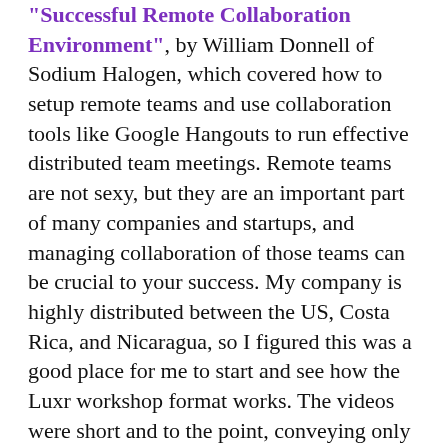"Successful Remote Collaboration Environment", by William Donnell of Sodium Halogen, which covered how to setup remote teams and use collaboration tools like Google Hangouts to run effective distributed team meetings. Remote teams are not sexy, but they are an important part of many companies and startups, and managing collaboration of those teams can be crucial to your success. My company is highly distributed between the US, Costa Rica, and Nicaragua, so I figured this was a good place for me to start and see how the Luxr workshop format works. The videos were short and to the point, conveying only the most important information, and covered the same material I would tell someone running distributed teams for the first time.
Next up on my agenda was "Run an Excellent Sales Call", by Sales Consultant Wanda Brown. My background is technical, but as an entrepreneur and